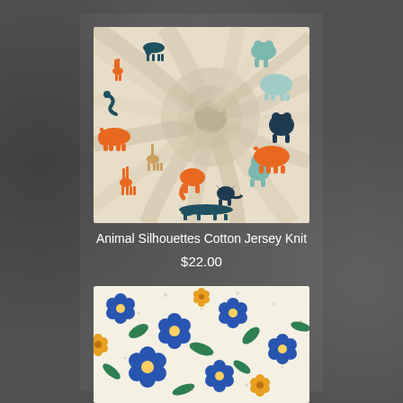[Figure (photo): Close-up of animal silhouettes cotton jersey knit fabric, twisted/draped. Cream background with orange, teal, and dark navy animal silhouettes (giraffes, rhinos, foxes, bears, rabbits, camels, etc.).]
Animal Silhouettes Cotton Jersey Knit
$22.00
[Figure (photo): Floral fabric with blue, yellow/orange flowers and green leaves on a cream/white background with small dot accents.]